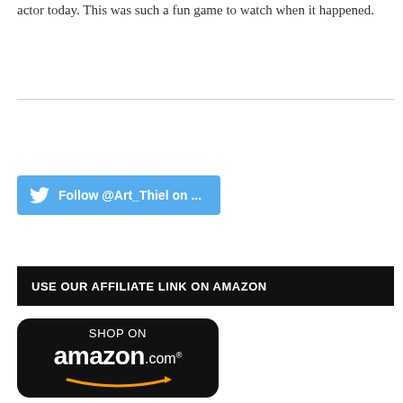actor today. This was such a fun game to watch when it happened.
[Figure (other): Twitter Follow button: Follow @Art_Thiel on ...]
USE OUR AFFILIATE LINK ON AMAZON
[Figure (logo): Amazon.com Shop On button with amazon arrow logo]